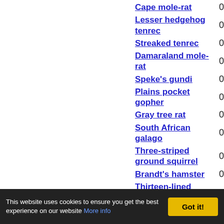Cape mole-rat 0
Lesser hedgehog tenrec 0
Streaked tenrec 0
Damaraland mole-rat 0
Speke's gundi 0
Plains pocket gopher 0
Gray tree rat 0
South African galago 0
Three-striped ground squirrel 0
Brandt's hamster 0
Thirteen-lined...
This website uses cookies to ensure you get the best experience on our website More info Got it!